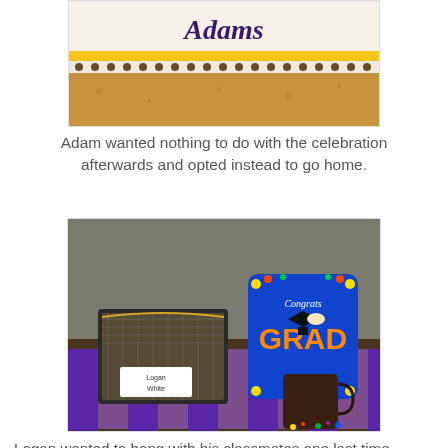[Figure (photo): Close-up of a graduation cake with 'Adams' written in script icing, decorated with yellow and white border.]
Adam wanted nothing to do with the celebration afterwards and opted instead to go home.
[Figure (photo): A graduation party table setup showing a black wire basket labeled 'Logan White', a 'Congrats Grad' sign, a dark mug, purple striped tablecloth decoration.]
Logan wanted to hang with his classmates one last time before summer break so he stayed for the party. Card tables were set up for each boy and decorated.